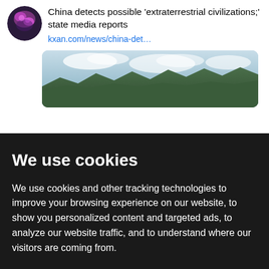China detects possible 'extraterrestrial civilizations;' state media reports
kxan.com/news/china-det…
[Figure (photo): Landscape photo showing mountains and sky with clouds]
We use cookies
We use cookies and other tracking technologies to improve your browsing experience on our website, to show you personalized content and targeted ads, to analyze our website traffic, and to understand where our visitors are coming from.
I agree
Change my preferences